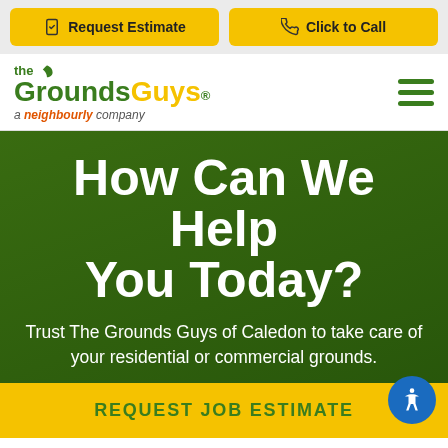Request Estimate | Click to Call
[Figure (logo): The Grounds Guys logo - green and yellow text with leaf icon, 'a neighbourly company' tagline]
How Can We Help You Today?
Trust The Grounds Guys of Caledon to take care of your residential or commercial grounds.
REQUEST JOB ESTIMATE